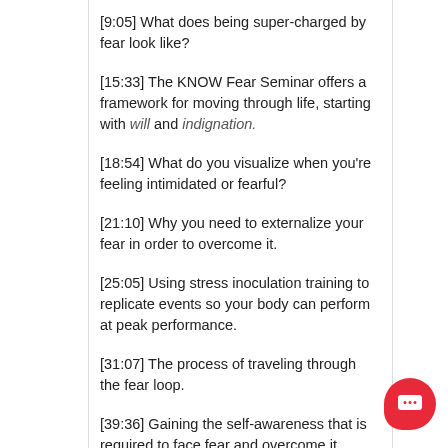[9:05] What does being super-charged by fear look like?
[15:33] The KNOW Fear Seminar offers a framework for moving through life, starting with will and indignation.
[18:54] What do you visualize when you're feeling intimidated or fearful?
[21:10] Why you need to externalize your fear in order to overcome it.
[25:05] Using stress inoculation training to replicate events so your body can perform at peak performance.
[31:07] The process of traveling through the fear loop.
[39:36] Gaining the self-awareness that is required to face fear and overcome it.